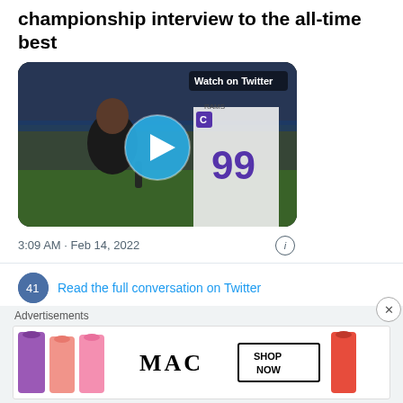championship interview to the all-time best
[Figure (screenshot): Video thumbnail showing a sideline interview with a woman holding a microphone and an NFL player wearing jersey #99 for the Rams. A blue play button circle is overlaid in the center. Text 'Watch on Twitter' appears in the top right.]
3:09 AM · Feb 14, 2022
Read the full conversation on Twitter
17  Reply  Copy link
Read 1 reply
Advertisements
[Figure (photo): MAC cosmetics advertisement showing colorful lipsticks with 'MAC' branding and a 'SHOP NOW' button.]